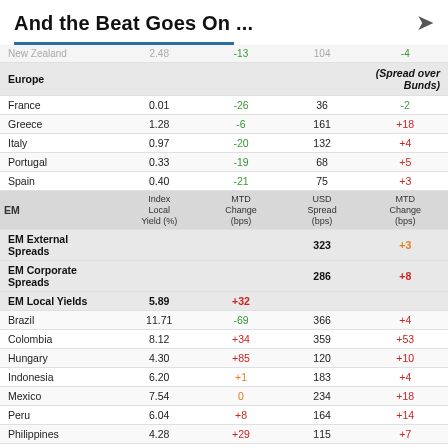And the Beat Goes On ...
|  | Index Local Yield (%) | MTD Change (bps) | USD Spread (bps) | MTD Change (bps) |
| --- | --- | --- | --- | --- |
| New Zealand | 2.48 | -13 | 104 | -4 |
| Europe |  |  |  | (Spread over Bunds) |
| France | 0.01 | -26 | 36 | -2 |
| Greece | 1.28 | -6 | 161 | +18 |
| Italy | 0.97 | -20 | 132 | +4 |
| Portugal | 0.33 | -19 | 68 | +5 |
| Spain | 0.40 | -21 | 75 | +3 |
| EM | Index Local Yield (%) | MTD Change (bps) | USD Spread (bps) | MTD Change (bps) |
| EM External Spreads |  |  | 323 | +3 |
| EM Corporate Spreads |  |  | 286 | +8 |
| EM Local Yields | 5.89 | +32 |  |  |
| Brazil | 11.71 | -69 | 366 | +4 |
| Colombia | 8.12 | +34 | 359 | +53 |
| Hungary | 4.30 | +85 | 120 | +10 |
| Indonesia | 6.20 | +1 | 183 | +4 |
| Mexico | 7.54 | 0 | 234 | +18 |
| Peru | 6.04 | +8 | 164 | +14 |
| Philippines | 4.28 | +29 | 115 | +7 |
| Poland | 3.05 | +67 | 56 | +17 |
| Russia | 8.31 | +21 | 170 | +1 |